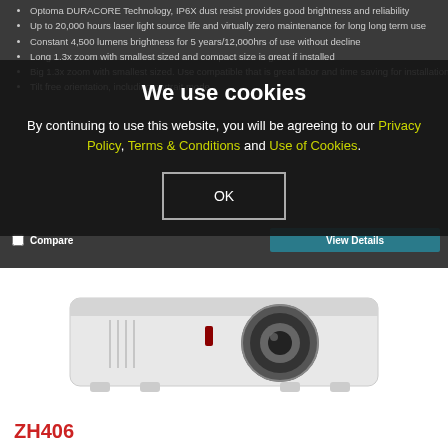Optoma DURACORE Technology, IP6X dust resist provides good brightness and reliability
Up to 20,000 hours laser light source life and virtually zero maintenance for long long term use
Constant 4,500 lumens brightness for 5 years/12,000hrs of use without decline
Long 1.3x zoom with smallest sized and compact size is great if installed
Big 1.3x zoom with smallest sized. Use compatible that is great labor and time saving for installation
Tilt free orientation, including portrait mode
We use cookies
By continuing to use this website, you will be agreeing to our Privacy Policy, Terms & Conditions and Use of Cookies.
OK
Compare
View Details
[Figure (photo): White Optoma ZH406 laser projector shown from a 3/4 angle view on white background]
ZH406